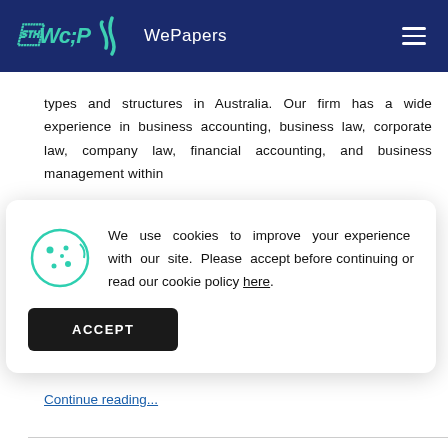WePapers
types and structures in Australia. Our firm has a wide experience in business accounting, business law, corporate law, company law, financial accounting, and business management within
We use cookies to improve your experience with our site. Please accept before continuing or read our cookie policy here.
you on available business structures and types in Australia that you can use as a channel to set
Continue reading...